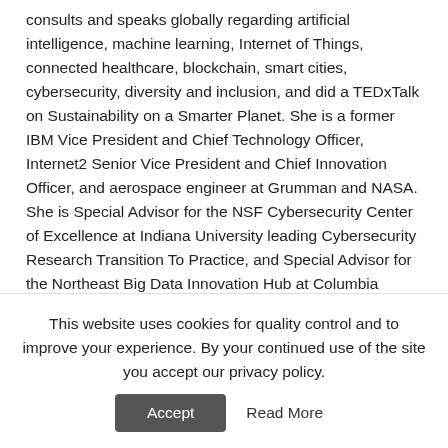consults and speaks globally regarding artificial intelligence, machine learning, Internet of Things, connected healthcare, blockchain, smart cities, cybersecurity, diversity and inclusion, and did a TEDxTalk on Sustainability on a Smarter Planet. She is a former IBM Vice President and Chief Technology Officer, Internet2 Senior Vice President and Chief Innovation Officer, and aerospace engineer at Grumman and NASA. She is Special Advisor for the NSF Cybersecurity Center of Excellence at Indiana University leading Cybersecurity Research Transition To Practice, and Special Advisor for the Northeast Big Data Innovation Hub at Columbia University leading EU-US collaboration on Next Generation Internet. Her recent book “Women Securing the Future with TIPPSS for IoT” showcases 17 women authors focused on ensuring Trust, Identity, Privacy, Protection,
This website uses cookies for quality control and to improve your experience. By your continued use of the site you accept our privacy policy.